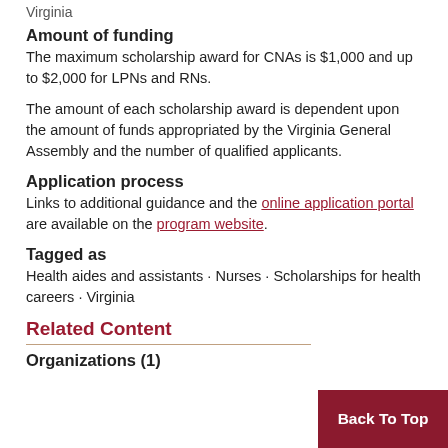Virginia
Amount of funding
The maximum scholarship award for CNAs is $1,000 and up to $2,000 for LPNs and RNs.
The amount of each scholarship award is dependent upon the amount of funds appropriated by the Virginia General Assembly and the number of qualified applicants.
Application process
Links to additional guidance and the online application portal are available on the program website.
Tagged as
Health aides and assistants · Nurses · Scholarships for health careers · Virginia
Related Content
Organizations (1)